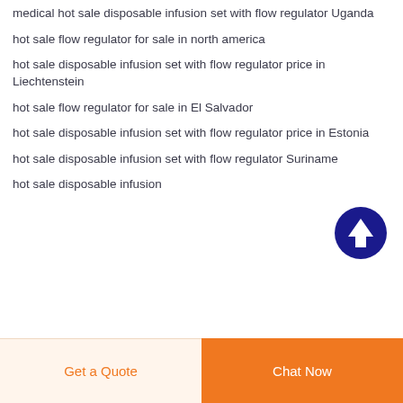medical hot sale disposable infusion set with flow regulator Uganda
hot sale flow regulator for sale in north america
hot sale disposable infusion set with flow regulator price in Liechtenstein
hot sale flow regulator for sale in El Salvador
hot sale disposable infusion set with flow regulator price in Estonia
hot sale disposable infusion set with flow regulator Suriname
hot sale disposable infusion